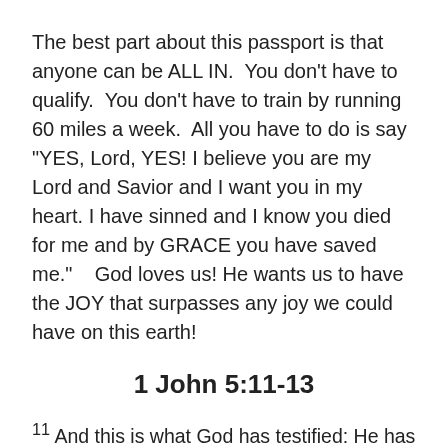The best part about this passport is that anyone can be ALL IN. You don't have to qualify. You don't have to train by running 60 miles a week. All you have to do is say "YES, Lord, YES! I believe you are my Lord and Savior and I want you in my heart. I have sinned and I know you died for me and by GRACE you have saved me." God loves us! He wants us to have the JOY that surpasses any joy we could have on this earth!
1 John 5:11-13
11 And this is what God has testified: He has given us eternal life, and this life is in his Son.12 Whoever has the Son has life; whoever does not have God's Son does not have life.13 I have written this to you who believe in the name of the Son of God, so that you may know you have